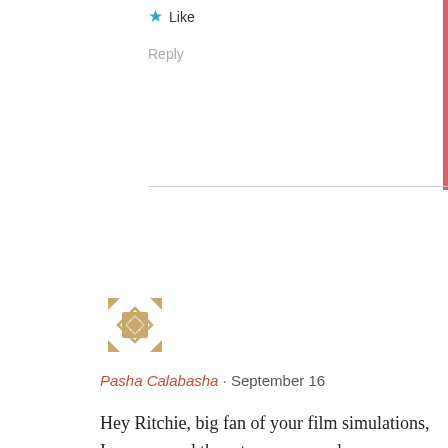★ Like
Reply
[Figure (illustration): Geometric decorative avatar icon in brownish-gold color, consisting of diamond/cross pattern with corner arrows]
Pasha Calabasha · September 16
Hey Ritchie, big fan of your film simulations, I recommend them to anyone and everyone because they're real fun. I might try to emulate this on my X-H1, any tips?? Probably gonna use Classic Chrome to see how it looks